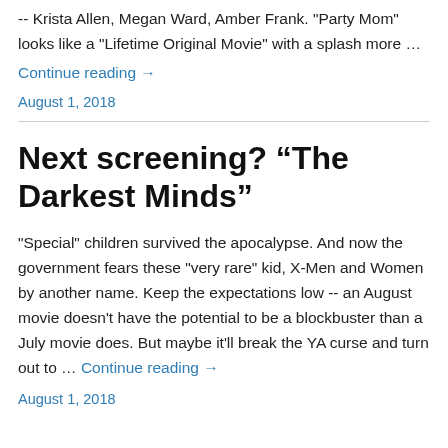-- Krista Allen, Megan Ward, Amber Frank. "Party Mom" looks like a "Lifetime Original Movie" with a splash more …
Continue reading →
August 1, 2018
Next screening? “The Darkest Minds”
"Special" children survived the apocalypse. And now the government fears these "very rare" kid, X-Men and Women by another name. Keep the expectations low -- an August movie doesn't have the potential to be a blockbuster than a July movie does. But maybe it'll break the YA curse and turn out to … Continue reading →
August 1, 2018